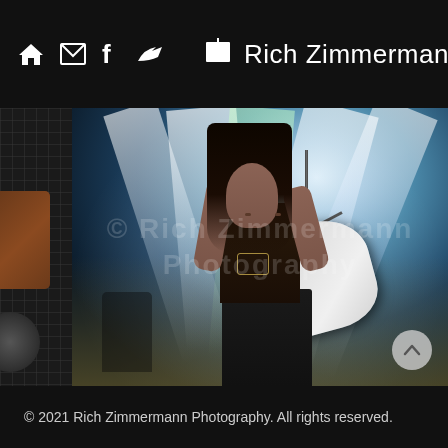Rich Zimmermann Photography website header with navigation icons (home, mail, facebook, bird/twitter) and brand name Rich Zimmermann
[Figure (photo): Concert photograph of a guitarist with long dark hair, tattoos, wearing a sleeveless top, playing a white electric guitar on a stage with dramatic stage lighting, fog, and multiple beam lights. A microphone stand is visible. Watermark reads '© Rich Zimmermann Photography'.]
© 2021 Rich Zimmermann Photography. All rights reserved.